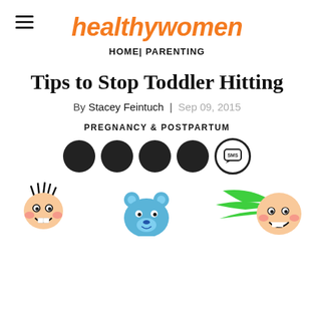healthywomen
HOME| PARENTING
Tips to Stop Toddler Hitting
By Stacey Feintuch | Sep 09, 2015
PREGNANCY & POSTPARTUM
[Figure (infographic): Five social sharing icon buttons: four solid dark circles and one SMS circle with speech bubble icon]
[Figure (illustration): Three cartoon child/animal characters partially visible at bottom of page: a spiky-haired boy on the left, a blue bear in the middle, and a green-haired smiling child on the right]